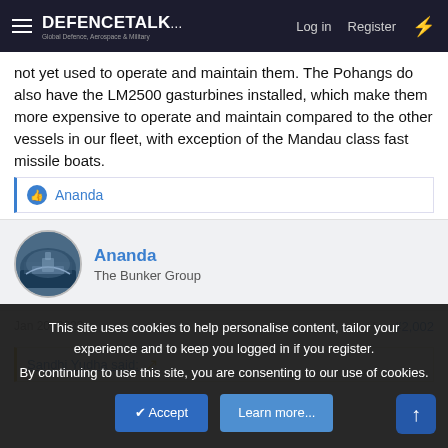DEFENCETALK | Log in | Register
not yet used to operate and maintain them. The Pohangs do also have the LM2500 gasturbines installed, which make them more expensive to operate and maintain compared to the other vessels in our fleet, with exception of the Mandau class fast missile boats.
Ananda
Ananda
The Bunker Group
Jan 20, 2022
#2,002
Sandhi Yudha said:
This site uses cookies to help personalise content, tailor your experience and to keep you logged in if you register.
By continuing to use this site, you are consenting to our use of cookies.